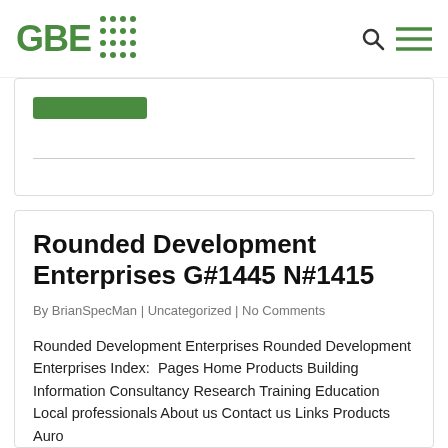GBE [logo with dot grid]
[Figure (logo): GBE logo with green text 'GBE' and a dot-grid icon to its right, plus search and hamburger menu icons on the right]
Rounded Development Enterprises G#1445 N#1415
By BrianSpecMan | Uncategorized | No Comments
Rounded Development Enterprises Rounded Development Enterprises Index:  Pages Home Products Building Information Consultancy Research Training Education Local professionals About us Contact us Links Products Auro